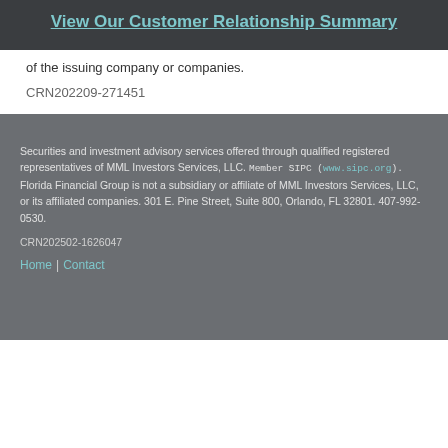View Our Customer Relationship Summary
of the issuing company or companies.
CRN202209-271451
Securities and investment advisory services offered through qualified registered representatives of MML Investors Services, LLC. Member SIPC (www.sipc.org). Florida Financial Group is not a subsidiary or affiliate of MML Investors Services, LLC, or its affiliated companies. 301 E. Pine Street, Suite 800, Orlando, FL 32801. 407-992-0530.
CRN202502-1626047
Home | Contact